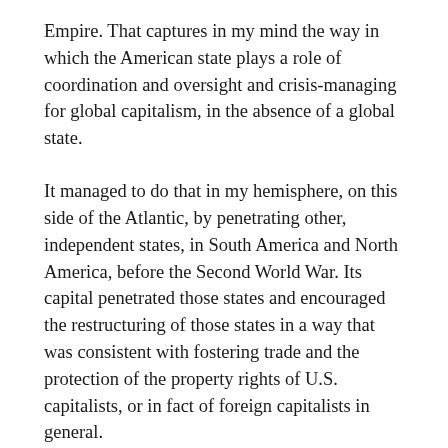Empire. That captures in my mind the way in which the American state plays a role of coordination and oversight and crisis-managing for global capitalism, in the absence of a global state.
It managed to do that in my hemisphere, on this side of the Atlantic, by penetrating other, independent states, in South America and North America, before the Second World War. Its capital penetrated those states and encouraged the restructuring of those states in a way that was consistent with fostering trade and the protection of the property rights of U.S. capitalists, or in fact of foreign capitalists in general.
That became generalized after the Second World War, not so much with the Third World as with Europe and Japan, which became increasingly Canadianized. European and Japanese capital, in different ways, were penetrated by American capitalists. Conditions for that were established politically. That penetration was very deep, and it was done in collaboration